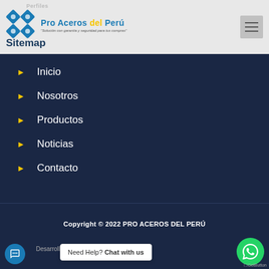Perfiles
[Figure (logo): Pro Aceros del Perú logo with diamond/rhombus icon and text 'Solución con garantía y seguridad para tus compras']
Sitemap
Inicio
Nosotros
Productos
Noticias
Contacto
Copyright © 2022 PRO ACEROS DEL PERÚ
Desarroll...
Need Help? Chat with us